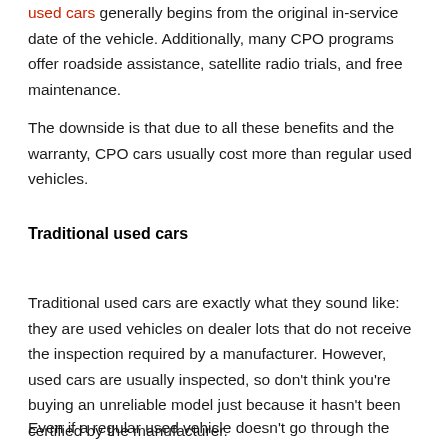used cars generally begins from the original in-service date of the vehicle. Additionally, many CPO programs offer roadside assistance, satellite radio trials, and free maintenance.
The downside is that due to all these benefits and the warranty, CPO cars usually cost more than regular used vehicles.
Traditional used cars
Traditional used cars are exactly what they sound like: they are used vehicles on dealer lots that do not receive the inspection required by a manufacturer. However, used cars are usually inspected, so don’t think you’re buying an unreliable model just because it hasn’t been certified by the manufacturer.
Even if a regular used vehicle doesn’t go through the same inspection program as a CPO car, that doesn’t mean it’s worse. However, to get the same type of detailed inspection, you will need to have a vehicle examined by a certified mechanic at your